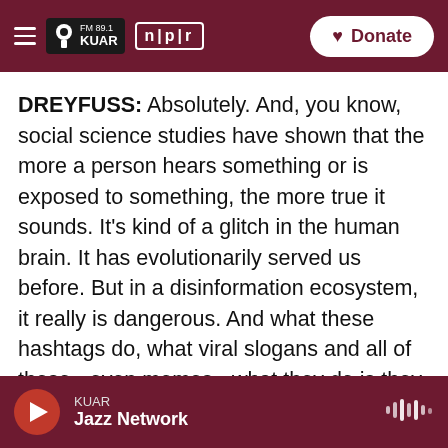FM 89.1 KUAR | NPR | Donate
DREYFUSS: Absolutely. And, you know, social science studies have shown that the more a person hears something or is exposed to something, the more true it sounds. It's kind of a glitch in the human brain. It has evolutionarily served us before. But in a disinformation ecosystem, it really is dangerous. And what these hashtags do, what viral slogans and all of these - even memes - what they do is they take really complicated, nuanced issues that people can debate about, that people feel passionate about, and they distill them down to this really simple piece of information that becomes
KUAR | Jazz Network